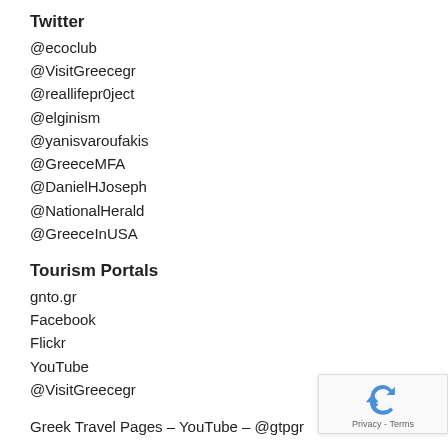Twitter
@ecoclub
@VisitGreecegr
@reallifepr0ject
@elginism
@yanisvaroufakis
@GreeceMFA
@DanielHJoseph
@NationalHerald
@GreeceInUSA
Tourism Portals
gnto.gr
Facebook
Flickr
YouTube
@VisitGreecegr
Greek Travel Pages – YouTube – @gtpgr
Flickr Groups
Travel in Greece
The Greek Islands
Summer in Greece